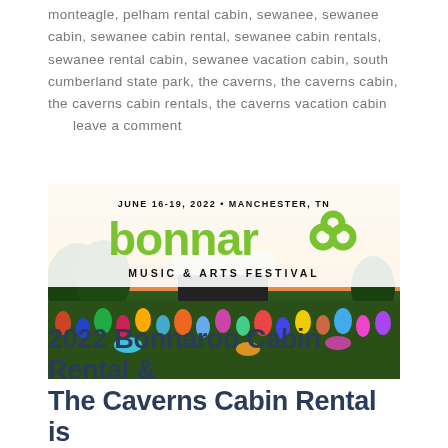monteagle, pelham rental cabin, sewanee, sewanee cabin, sewanee cabin rental, sewanee cabin rentals, sewanee rental cabin, sewanee vacation cabin, south cumberland state park, the caverns, the caverns cabin, the caverns cabin rentals, the caverns vacation cabin      leave a comment
[Figure (photo): Bonnaroo Music & Arts Festival banner showing June 16-19, 2022, Manchester TN with crowd photo at outdoor festival grounds at sunset]
2022 Bonnaroo Cabin Rental & The Caverns Cabin Rental is